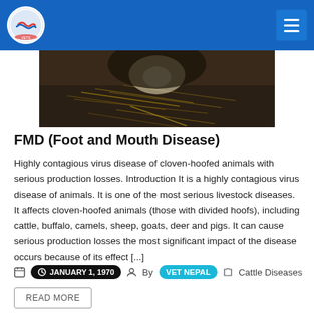VET NEPAL
[Figure (photo): Close-up photo of a cow's face/mouth area eating hay or straw]
FMD (Foot and Mouth Disease)
Highly contagious virus disease of cloven-hoofed animals with serious production losses. Introduction It is a highly contagious virus disease of animals. It is one of the most serious livestock diseases. It affects cloven-hoofed animals (those with divided hoofs), including cattle, buffalo, camels, sheep, goats, deer and pigs. It can cause serious production losses the most significant impact of the disease occurs because of its effect [...]
JANUARY 1, 1970  By VET NEPAL  Cattle Diseases
READ MORE